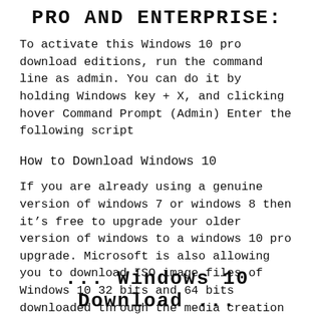PRO AND ENTERPRISE:
To activate this Windows 10 pro download editions, run the command line as admin. You can do it by holding Windows key + X, and clicking hover Command Prompt (Admin) Enter the following script
How to Download Windows 10
If you are already using a genuine version of windows 7 or windows 8 then it’s free to upgrade your older version of windows to a windows 10 pro upgrade. Microsoft is also allowing you to download ISO image files of Windows 10 32 bits and 64 bits downloaded through the media creation tool.
... Windows 10 Download ...